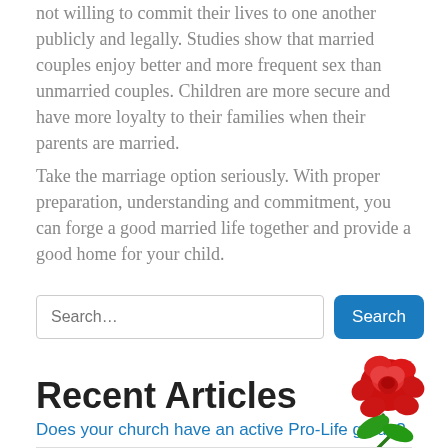not willing to commit their lives to one another publicly and legally. Studies show that married couples enjoy better and more frequent sex than unmarried couples. Children are more secure and have more loyalty to their families when their parents are married.
Take the marriage option seriously. With proper preparation, understanding and commitment, you can forge a good married life together and provide a good home for your child.
[Figure (other): Search bar with placeholder text 'Search...' and a blue Search button]
Recent Articles
Does your church have an active Pro-Life group?
[Figure (illustration): Red rose with green leaves and stem, decorative image in bottom right corner]